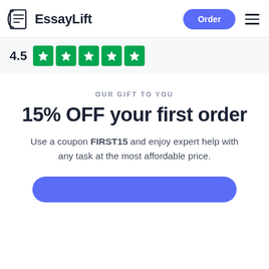EssayLift
[Figure (other): Star rating: 4.5 with five green Trustpilot-style star boxes]
OUR GIFT TO YOU
15% OFF your first order
Use a coupon FIRST15 and enjoy expert help with any task at the most affordable price.